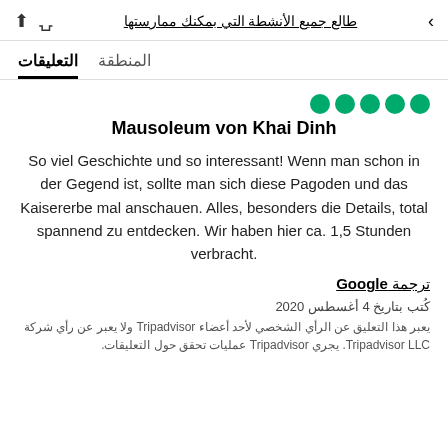طالع جميع الأنشطة التي بمكنك ممارستها
التعليقات  المنطقة
[Figure (other): Five green filled circles representing a 5-bubble rating on TripAdvisor]
Mausoleum von Khai Dinh
So viel Geschichte und so interessant! Wenn man schon in der Gegend ist, sollte man sich diese Pagoden und das Kaisererbe mal anschauen. Alles, besonders die Details, total spannend zu entdecken. Wir haben hier ca. 1,5 Stunden verbracht.
ترجمة Google
كُتب بتاريخ 4 أغسطس 2020
يعبر هذا التعليق عن الرأي الشخصي لأحد أعضاء Tripadvisor ولا يعبر عن رأي شركة Tripadvisor LLC. يجري Tripadvisor عمليات تحقق حول التعليقات.